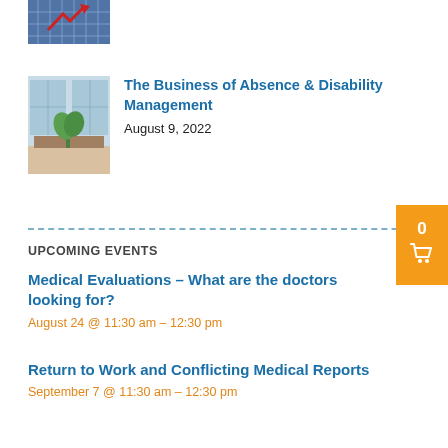[Figure (photo): Partial thumbnail image of a chart or graphic with red arrows and blue grid, cropped at the top of the page]
[Figure (photo): Office interior with desks, windows and a potted plant]
The Business of Absence & Disability Management
August 9, 2022
UPCOMING EVENTS
Medical Evaluations – What are the doctors looking for?
August 24 @ 11:30 am - 12:30 pm
Return to Work and Conflicting Medical Reports
September 7 @ 11:30 am - 12:30 pm